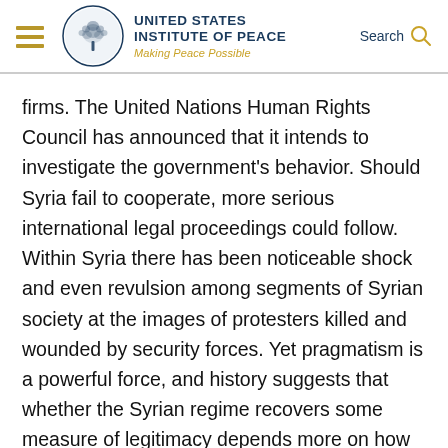United States Institute of Peace — Making Peace Possible
firms. The United Nations Human Rights Council has announced that it intends to investigate the government's behavior. Should Syria fail to cooperate, more serious international legal proceedings could follow. Within Syria there has been noticeable shock and even revulsion among segments of Syrian society at the images of protesters killed and wounded by security forces. Yet pragmatism is a powerful force, and history suggests that whether the Syrian regime recovers some measure of legitimacy depends more on how this uprising ends than on the means used to end it. There are dozens of cases in which governments that have killed their own citizens not